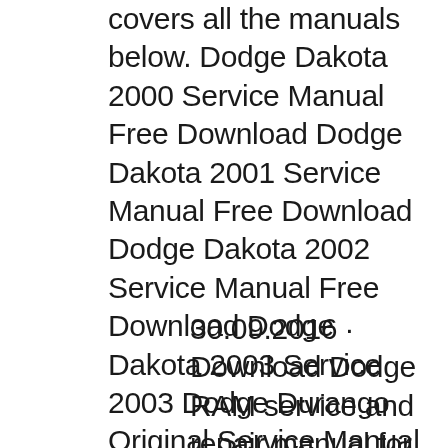covers all the manuals below. Dodge Dakota 2000 Service Manual Free Download Dodge Dakota 2001 Service Manual Free Download Dodge Dakota 2002 Service Manual Free Download Dodge Dakota 2003 Service 2003 Dodge Durango Original Service Manual If you are not sure about the production year of your car , just see...
30.09.2016 · Download Dodge RAM service and repair manual for free in english. The complete manual with information about repair, service and maintenance the vehicle. The complete manual with information about 2003